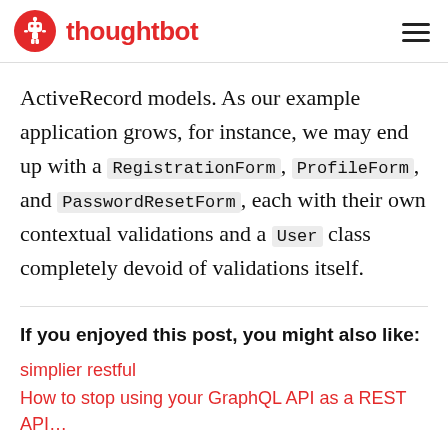thoughtbot
ActiveRecord models. As our example application grows, for instance, we may end up with a RegistrationForm, ProfileForm, and PasswordResetForm, each with their own contextual validations and a User class completely devoid of validations itself.
If you enjoyed this post, you might also like:
simplier restful
How to stop using your GraphQL API as a REST API